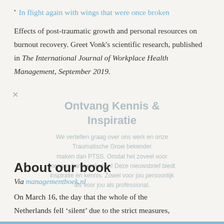In flight again with wings that were once broken
Effects of post-traumatic growth and personal resources on burnout recovery. Greet Vonk's scientific research, published in The International Journal of Workplace Health Management, September 2019.
Ontvang Kennis & Inspiratie
We vertellen graag over ons werk en onze Traumatische Groei bekender maken dan PTSS. Omdat het zoveel voor mensen kan betekenen! Deze nieuwsbrief biedt inspiratie en kennis. Zowel voor jou persoonlijk als voor jou als professional.
About our book
Via managementboek.nl
On March 16, the day that the whole of the Netherlands fell ‘silent’ due to the strict measures, the book about ‘stronger through misery’ was